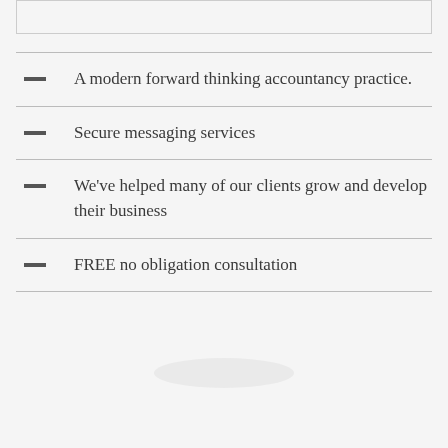A modern forward thinking accountancy practice.
Secure messaging services
We've helped many of our clients grow and develop their business
FREE no obligation consultation